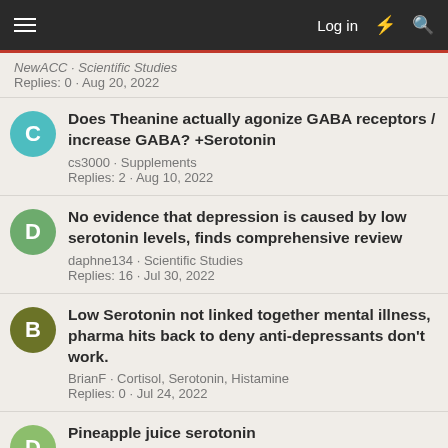Log in
NewACC · Scientific Studies
Replies: 0 · Aug 20, 2022
Does Theanine actually agonize GABA receptors / increase GABA? +Serotonin
cs3000 · Supplements
Replies: 2 · Aug 10, 2022
No evidence that depression is caused by low serotonin levels, finds comprehensive review
daphne134 · Scientific Studies
Replies: 16 · Jul 30, 2022
Low Serotonin not linked together mental illness, pharma hits back to deny anti-depressants don't work.
BrianF · Cortisol, Serotonin, Histamine
Replies: 0 · Jul 24, 2022
Pineapple juice serotonin
Dr. B · Ask For Help or Advice
Replies: 16 · Tuesday at 12:25 PM